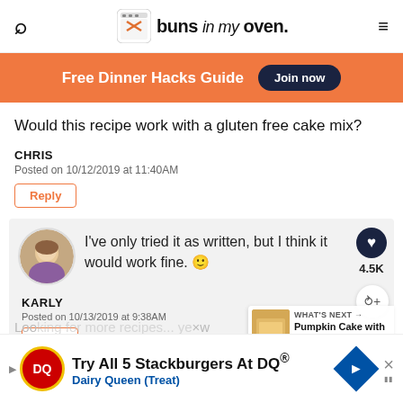buns in my oven
Free Dinner Hacks Guide Join now
Would this recipe work with a gluten free cake mix?
CHRIS
Posted on 10/12/2019 at 11:40AM
Reply
I've only tried it as written, but I think it would work fine. 🙂
KARLY
Posted on 10/13/2019 at 9:38AM
Reply
WHAT'S NEXT → Pumpkin Cake with Cream...
[Figure (infographic): Dairy Queen ad: Try All 5 Stackburgers At DQ®, Dairy Queen (Treat)]